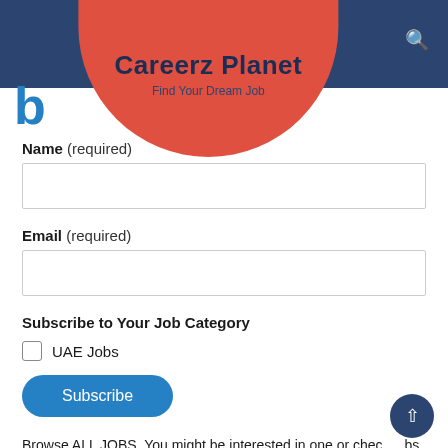Careerz Planet — Find Your Dream Job
Name (required)
Email (required)
Subscribe to Your Job Category
UAE Jobs
Subscribe
Browse ALL JOBS, You might be interested in one or check jobs by following categories